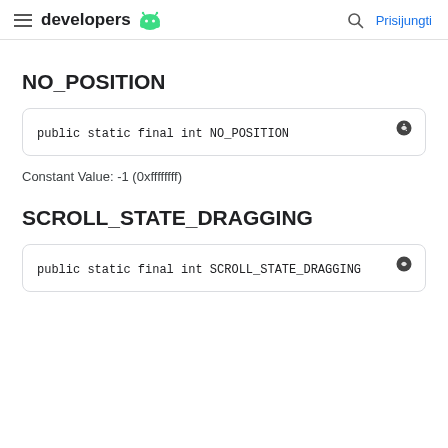developers  Prisijungti
NO_POSITION
public static final int NO_POSITION
Constant Value: -1 (0xffffffff)
SCROLL_STATE_DRAGGING
public static final int SCROLL_STATE_DRAGGING